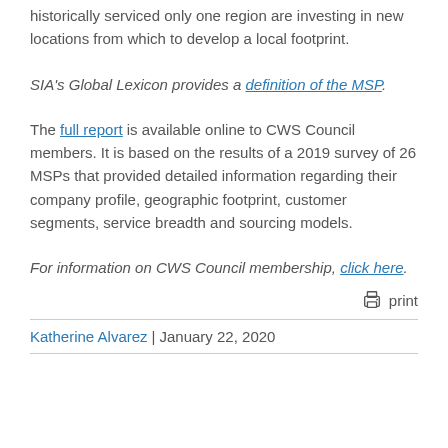historically serviced only one region are investing in new locations from which to develop a local footprint.
SIA's Global Lexicon provides a definition of the MSP.
The full report is available online to CWS Council members. It is based on the results of a 2019 survey of 26 MSPs that provided detailed information regarding their company profile, geographic footprint, customer segments, service breadth and sourcing models.
For information on CWS Council membership, click here.
print
Katherine Alvarez | January 22, 2020